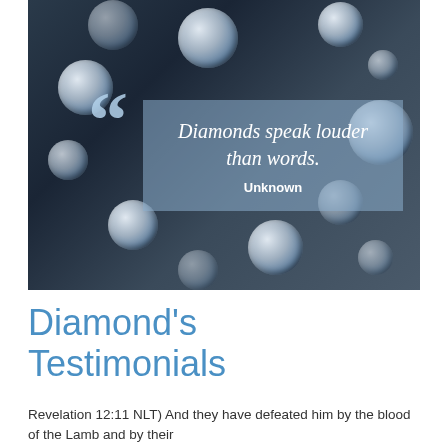[Figure (photo): Photograph of multiple sparkling diamonds scattered on a dark blue-grey background. Overlaid with a large light-blue quotation mark and a semi-transparent blue-grey box containing the italic quote 'Diamonds speak louder than words.' attributed to Unknown.]
Diamond's Testimonials
Revelation 12:11 NLT) And they have defeated him by the blood of the Lamb and by their